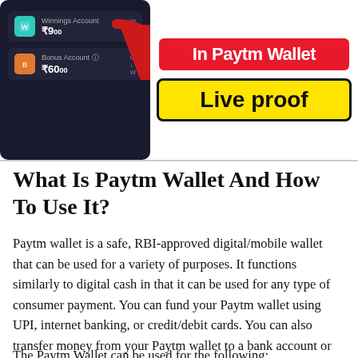[Figure (screenshot): Paytm app wallet screenshot showing Winnings Account ₹9.00 and Bonus Account ₹60.00 with a red arrow, alongside 'In Paytm Wallet' and 'Live proof' promotional banner]
What Is Paytm Wallet And How To Use It?
Paytm wallet is a safe, RBI-approved digital/mobile wallet that can be used for a variety of purposes. It functions similarly to digital cash in that it can be used for any type of consumer payment. You can fund your Paytm wallet using UPI, internet banking, or credit/debit cards. You can also transfer money from your Paytm wallet to a bank account or another person's Paytm wallet.
The Paytm Wallet can be used for the following: